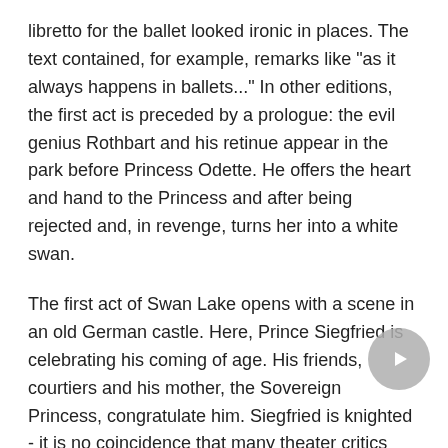libretto for the ballet looked ironic in places. The text contained, for example, remarks like "as it always happens in ballets..." In other editions, the first act is preceded by a prologue: the evil genius Rothbart and his retinue appear in the park before Princess Odette. He offers the heart and hand to the Princess and after being rejected and, in revenge, turns her into a white swan.
The first act of Swan Lake opens with a scene in an old German castle. Here, Prince Siegfried is celebrating his coming of age. His friends, courtiers and his mother, the Sovereign Princess, congratulate him. Siegfried is knighted - it is no coincidence that many theater critics compared the plot of the ballet with a chivalric romance.
The prince is surrounded by beautiful girls, but he is not ready to choose any of them. Dreaming of true love, Siegfried doesn't notice that the party has